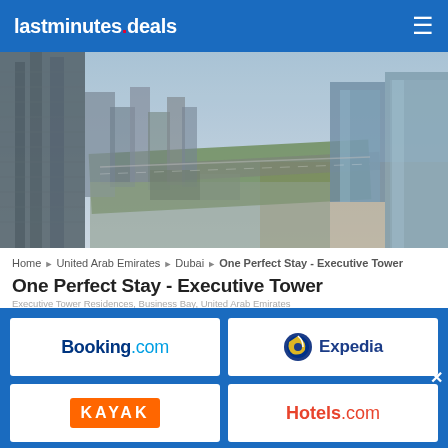lastminutes.deals
[Figure (photo): Aerial view of Dubai skyline with skyscrapers, highway, and urban landscape under clear sky]
Home ▶ United Arab Emirates ▶ Dubai ▶ One Perfect Stay - Executive Tower
One Perfect Stay - Executive Tower
[Figure (logo): Booking.com logo]
[Figure (logo): Expedia logo]
[Figure (logo): KAYAK logo]
[Figure (logo): Hotels.com logo]